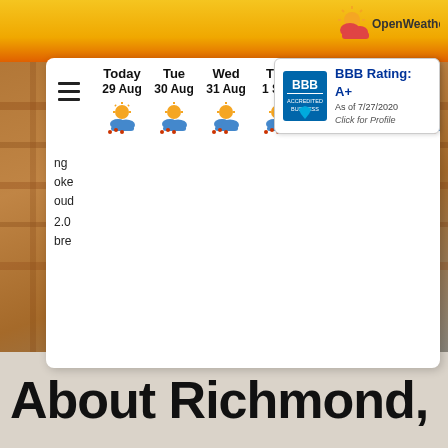[Figure (screenshot): OpenWeather widget logo in top right corner with orange and red cloud/sun icon]
[Figure (screenshot): BBB Accredited Business badge showing BBB Rating: A+ as of 7/27/2020, Click for Profile]
[Figure (screenshot): Weather forecast widget showing 7-day forecast: Today 29 Aug, Tue 30 Aug, Wed 31 Aug, Thu 1 Sep, Fri 2 Sep, Sat 3 Sep, Sun 4 Sep - each with partly cloudy weather icons]
ng
oke
oud
2.0
bre
[Figure (photo): Aerial/overhead view of a building under construction showing wooden framing and structure]
About Richmond,